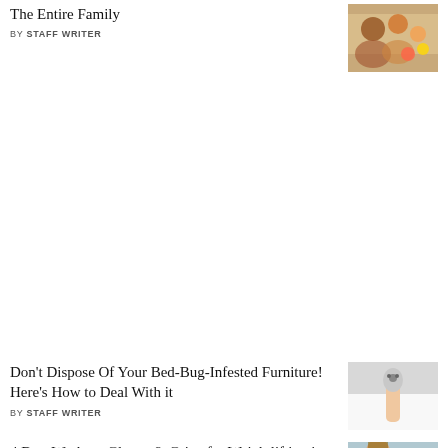The Entire Family
BY STAFF WRITER
[Figure (photo): Photo of family eating together with fruits and food on table]
Don't Dispose Of Your Bed-Bug-Infested Furniture! Here's How to Deal With it
BY STAFF WRITER
[Figure (photo): Photo of person holding something over white bed sheets]
4 Best Workout Gloves & Gripz for Weightlifting in 2021- Benefits & Purposes?
[Figure (photo): Photo of woman in yellow tank top holding black gloves]